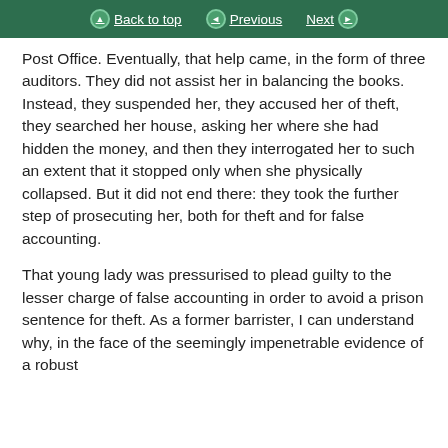Back to top | Previous | Next
Post Office. Eventually, that help came, in the form of three auditors. They did not assist her in balancing the books. Instead, they suspended her, they accused her of theft, they searched her house, asking her where she had hidden the money, and then they interrogated her to such an extent that it stopped only when she physically collapsed. But it did not end there: they took the further step of prosecuting her, both for theft and for false accounting.
That young lady was pressurised to plead guilty to the lesser charge of false accounting in order to avoid a prison sentence for theft. As a former barrister, I can understand why, in the face of the seemingly impenetrable evidence of a robust